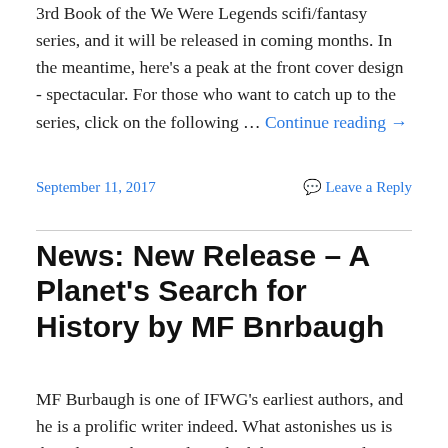3rd Book of the We Were Legends scifi/fantasy series, and it will be released in coming months. In the meantime, here's a peak at the front cover design - spectacular. For those who want to catch up to the series, click on the following … Continue reading →
September 11, 2017   Leave a Reply
News: New Release – A Planet's Search for History by MF Bnrbaugh
MF Burbaugh is one of IFWG's earliest authors, and he is a prolific writer indeed. What astonishes us is that, despite the speed in which he writes novels, they are always entertaining pieces, with a great deal of action and